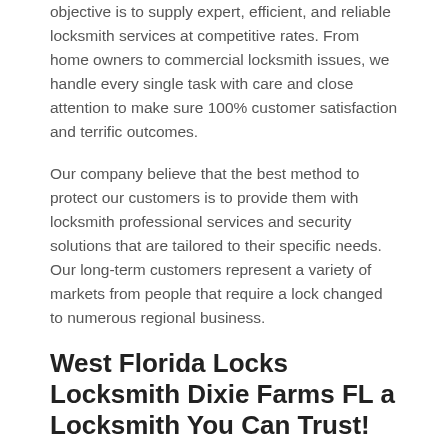objective is to supply expert, efficient, and reliable locksmith services at competitive rates. From home owners to commercial locksmith issues, we handle every single task with care and close attention to make sure 100% customer satisfaction and terrific outcomes.
Our company believe that the best method to protect our customers is to provide them with locksmith professional services and security solutions that are tailored to their specific needs. Our long-term customers represent a variety of markets from people that require a lock changed to numerous regional business.
West Florida Locks Locksmith Dixie Farms FL a Locksmith You Can Trust!
Fully Licensed, Bonded &